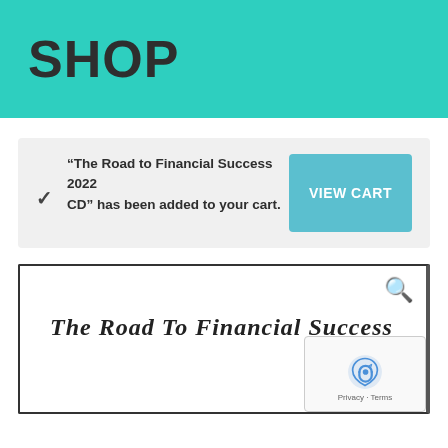SHOP
“The Road to Financial Success 2022 CD” has been added to your cart.
[Figure (screenshot): VIEW CART button (teal/blue), rectangular with white bold text]
[Figure (screenshot): Product preview box with search icon and cursive title 'The Road To Financial Success', with reCAPTCHA overlay showing Privacy and Terms links]